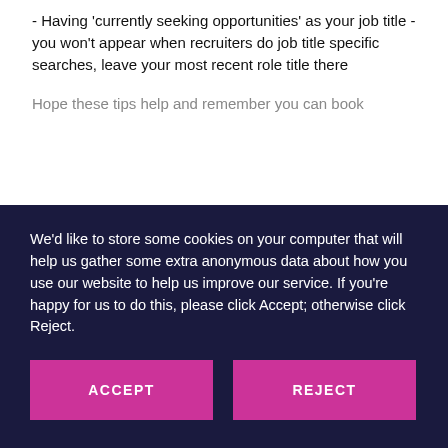- Having 'currently seeking opportunities' as your job title - you won't appear when recruiters do job title specific searches, leave your most recent role title there
Hope these tips help and remember you can book
We'd like to store some cookies on your computer that will help us gather some extra anonymous data about how you use our website to help us improve our service. If you're happy for us to do this, please click Accept; otherwise click Reject.